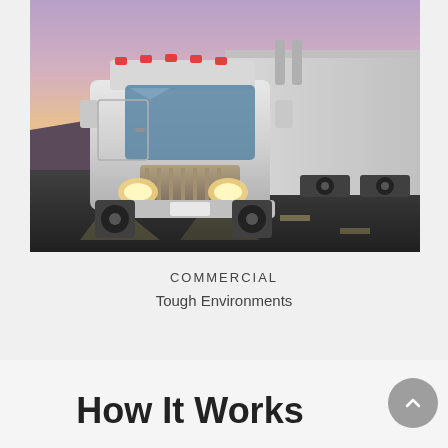[Figure (photo): A white semi-truck / 18-wheeler with trailer driving on a highway at dusk or dawn, front-facing view with headlights on, purple and orange sky background.]
COMMERCIAL
Tough Environments
How It Works